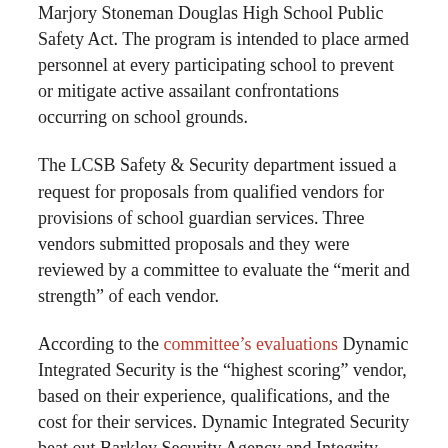Marjory Stoneman Douglas High School Public Safety Act. The program is intended to place armed personnel at every participating school to prevent or mitigate active assailant confrontations occurring on school grounds.
The LCSB Safety & Security department issued a request for proposals from qualified vendors for provisions of school guardian services. Three vendors submitted proposals and they were reviewed by a committee to evaluate the “merit and strength” of each vendor.
According to the committee’s evaluations Dynamic Integrated Security is the “highest scoring” vendor, based on their experience, qualifications, and the cost for their services. Dynamic Integrated Security beat out Barkley Security Agency and Integrity Guardians.
Tallahassee Reports has requested the fiscal impact for the contracted services from the LCSB and will update the story